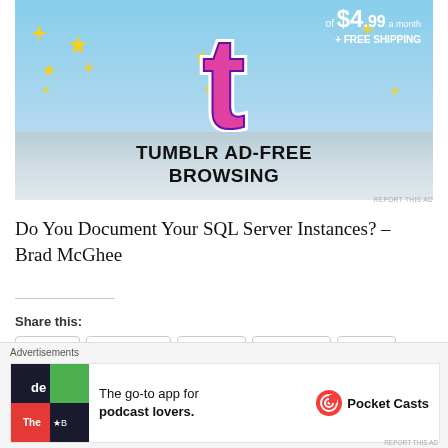[Figure (screenshot): Tumblr ad banner showing the Tumblr logo with sparkle stars, text 'TUMBLR AD-FREE BROWSING' and price 'of $4.99 a month + FREE SHIPPING' on a sky-blue background]
REPORT THIS AD
Do You Document Your SQL Server Instances? – Brad McGhee
Share this:
Email  Facebook  Twitter  LinkedIn  Print
[Figure (screenshot): Pocket Casts advertisement — 'The go-to app for podcast lovers.' with Pocket Casts logo on the right and a colorful icon on the left. Label: Advertisements]